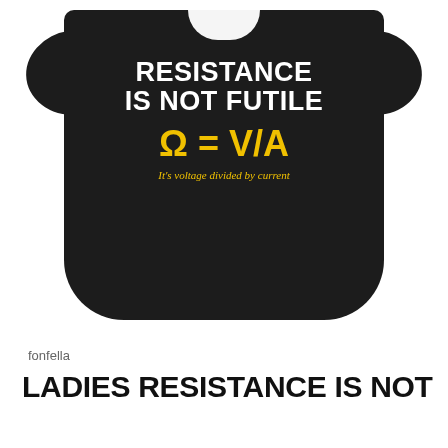[Figure (photo): A woman wearing a fitted black t-shirt with text: 'RESISTANCE IS NOT FUTILE' in white bold letters, below it 'Ω = V/A' in yellow bold letters, and 'It's voltage divided by current' in smaller yellow italic text.]
fonfella
LADIES RESISTANCE IS NOT